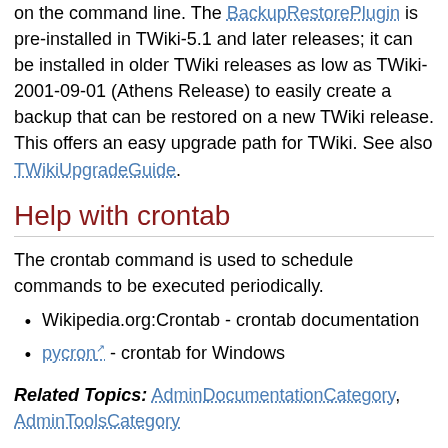on the command line. The BackupRestorePlugin is pre-installed in TWiki-5.1 and later releases; it can be installed in older TWiki releases as low as TWiki-2001-09-01 (Athens Release) to easily create a backup that can be restored on a new TWiki release. This offers an easy upgrade path for TWiki. See also TWikiUpgradeGuide.
Help with crontab
The crontab command is used to schedule commands to be executed periodically.
Wikipedia.org:Crontab - crontab documentation
pycron - crontab for Windows
Related Topics: AdminDocumentationCategory, AdminToolsCategory